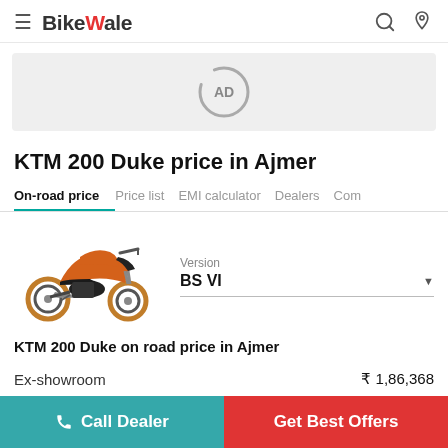BikeWale
[Figure (other): Advertisement banner placeholder with circular loader and AD text]
KTM 200 Duke price in Ajmer
On-road price | Price list | EMI calculator | Dealers | Com
[Figure (photo): KTM 200 Duke motorcycle in orange and black color, side view]
Version: BS VI
KTM 200 Duke on road price in Ajmer
|  |  |
| --- | --- |
| Ex-showroom | ₹ 1,86,368 |